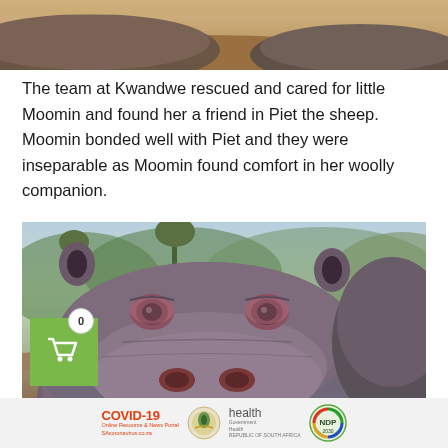[Figure (photo): Top portion of a photo showing hippopotamuses, cropped at the top of the page showing their backs/bodies against a sandy/earthy background]
The team at Kwandwe rescued and cared for little Moomin and found her a friend in Piet the sheep. Moomin bonded well with Piet and they were inseparable as Moomin found comfort in her woolly companion.
[Figure (photo): Close-up photo of a hippopotamus face looking directly at the camera, with green savanna landscape in the background and another hippo partially visible on the right. A green shopping cart widget with '0' badge is overlaid on the lower left of the image.]
COVID-19 Online Resource & News Portal SAcoronavirus.co.za | health Government Health REPUBLIC OF SOUTH AFRICA | NDP 2030